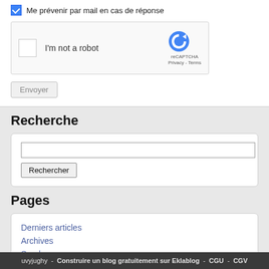Me prévenir par mail en cas de réponse
[Figure (screenshot): reCAPTCHA widget with checkbox 'I'm not a robot', reCAPTCHA logo, Privacy and Terms links]
Envoyer
Recherche
Rechercher
Pages
Derniers articles
Archives
Sondages
Contact
Connexion
uvyjughy - Construire un blog gratuitement sur Eklablog - CGU - CGV